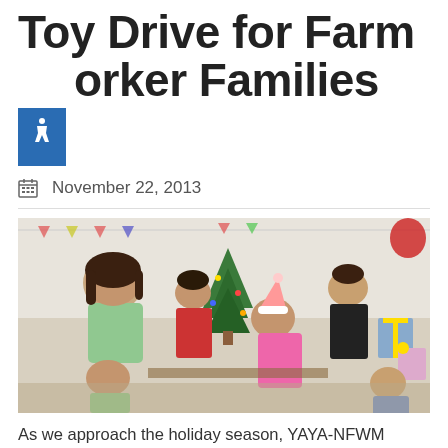Toy Drive for Farmworker Families
November 22, 2013
[Figure (photo): Group of people including women and children gathering around Christmas decorations, gifts, and a Christmas tree in an indoor setting. One child wears a pink Santa hat.]
As we approach the holiday season, YAYA-NFWM invites you to take part in the giving spirit by making a donation of new or gently used toys, clothing items, or books for